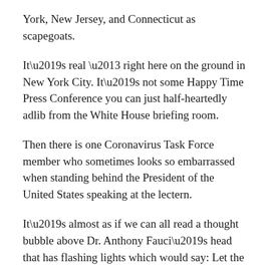York, New Jersey, and Connecticut as scapegoats.
It’s real – right here on the ground in New York City. It’s not some Happy Time Press Conference you can just half-heartedly adlib from the White House briefing room.
Then there is one Coronavirus Task Force member who sometimes looks so embarrassed when standing behind the President of the United States speaking at the lectern.
It’s almost as if we can all read a thought bubble above Dr. Anthony Fauci’s head that has flashing lights which would say: Let the science speak for itself!